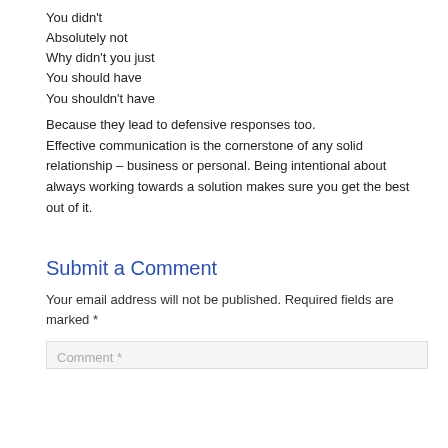You didn't
Absolutely not
Why didn't you just
You should have
You shouldn't have
Because they lead to defensive responses too. Effective communication is the cornerstone of any solid relationship – business or personal. Being intentional about always working towards a solution makes sure you get the best out of it.
Submit a Comment
Your email address will not be published. Required fields are marked *
Comment *